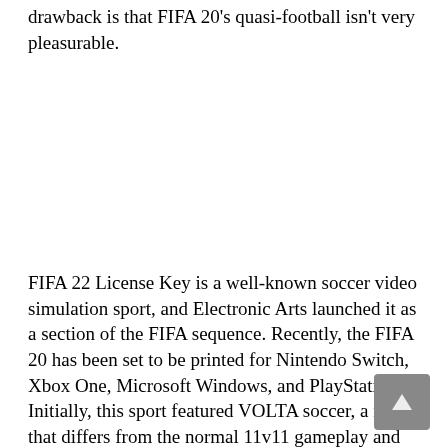drawback is that FIFA 20's quasi-football isn't very pleasurable.
FIFA 22 License Key is a well-known soccer video simulation sport, and Electronic Arts launched it as a section of the FIFA sequence. Recently, the FIFA 20 has been set to be printed for Nintendo Switch, Xbox One, Microsoft Windows, and PlayStation 4. Initially, this sport featured VOLTA soccer, a mode that differs from the normal 11v11 gameplay and largely concentrates on video games along with the highway.